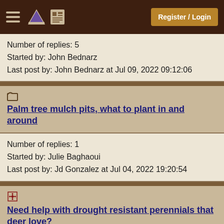Register / Login
Number of replies: 5
Started by: John Bednarz
Last post by: John Bednarz at Jul 09, 2022 09:12:06
Palm tree mulch pits, what to plant in and around
Number of replies: 1
Started by: Julie Baghaoui
Last post by: Jd Gonzalez at Jul 04, 2022 19:20:54
Need help with drought resistant perennials that deer love?
Number of replies: 21
Started by: Anne Miller
Last post by: Anne Miller at Jun 29, 2022 14:17:37